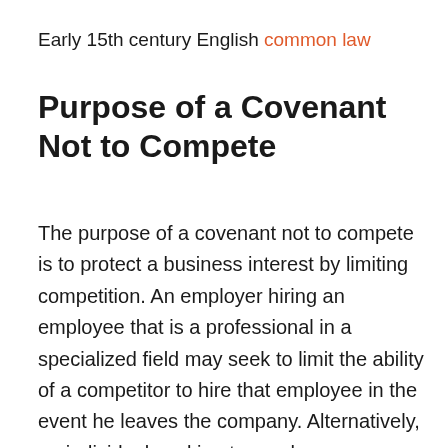Early 15th century English common law
Purpose of a Covenant Not to Compete
The purpose of a covenant not to compete is to protect a business interest by limiting competition. An employer hiring an employee that is a professional in a specialized field may seek to limit the ability of a competitor to hire that employee in the event he leaves the company. Alternatively, an individual seeking to purchase a business may use a